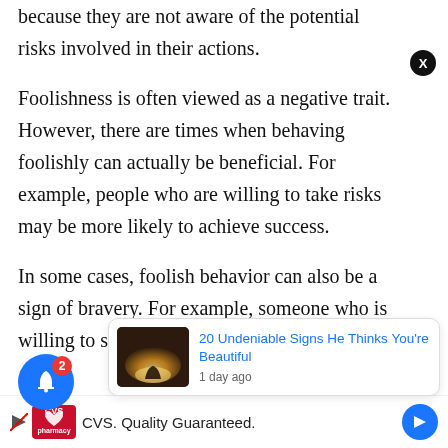because they are not aware of the potential risks involved in their actions.
Foolishness is often viewed as a negative trait. However, there are times when behaving foolishly can actually be beneficial. For example, people who are willing to take risks may be more likely to achieve success.
In some cases, foolish behavior can also be a sign of bravery. For example, someone who is willing to stand up to a
[Figure (screenshot): Article recommendation card: '20 Undeniable Signs He Thinks You're Beautiful', 1 day ago, with thumbnail image]
[Figure (screenshot): CVS pharmacy advertisement banner: 'CVS. Quality Guaranteed.']
[Figure (screenshot): Blue notification bell button with red badge showing '2']